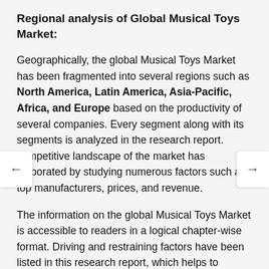Regional analysis of Global Musical Toys Market:
Geographically, the global Musical Toys Market has been fragmented into several regions such as North America, Latin America, Asia-Pacific, Africa, and Europe based on the productivity of several companies. Every segment along with its segments is analyzed in the research report. competitive landscape of the market has elaborated by studying numerous factors such as top manufacturers, prices, and revenue.
The information on the global Musical Toys Market is accessible to readers in a logical chapter-wise format. Driving and restraining factors have been listed in this research report, which helps to understand positive and negative aspects in front of the businesses.